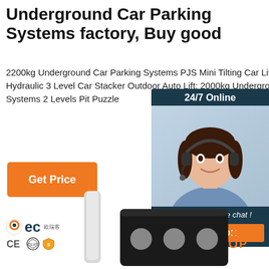Underground Car Parking Systems factory, Buy good
2200kg Underground Car Parking Systems PJS Mini Tilting Car Lift; Hydraulic 3 Level Car Stacker Outdoor Auto Lift; 2000kg Underground Car Systems 2 Levels Pit Puzzle
[Figure (other): Orange 'Get Price' button]
[Figure (other): 24/7 Online chat widget with customer service representative photo, 'Click here for free chat!' text, and orange QUOTATION button]
[Figure (logo): BEC logo with Chinese text and CE certification icons]
[Figure (other): Orange TOP button with dots]
[Figure (photo): Product photo showing parking system components at bottom of page]